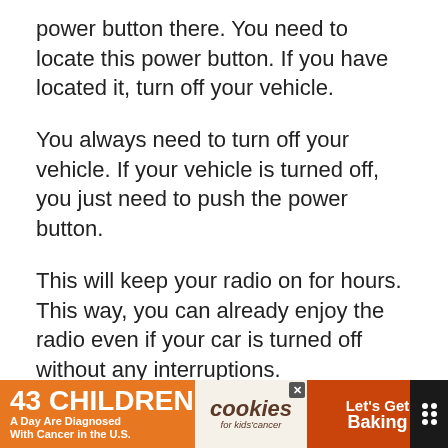power button there. You need to locate this power button. If you have located it, turn off your vehicle.
You always need to turn off your vehicle. If your vehicle is turned off, you just need to push the power button.
This will keep your radio on for hours. This way, you can already enjoy the radio even if your car is turned off without any interruptions.
How to Keep Radio on When a BMW Car Is Off?
[Figure (other): Advertisement banner: '43 CHILDREN A Day Are Diagnosed With Cancer in the U.S.' with cookies for kids' cancer and 'Let's Get Baking' promotion on dark background]